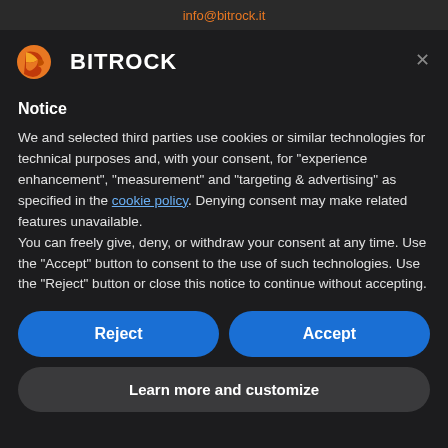info@bitrock.it
[Figure (logo): Bitrock logo with orange stylized icon and BITROCK wordmark in white on dark background]
Notice
We and selected third parties use cookies or similar technologies for technical purposes and, with your consent, for “experience enhancement”, “measurement” and “targeting & advertising” as specified in the cookie policy. Denying consent may make related features unavailable.
You can freely give, deny, or withdraw your consent at any time. Use the “Accept” button to consent to the use of such technologies. Use the “Reject” button or close this notice to continue without accepting.
Reject
Accept
Learn more and customize